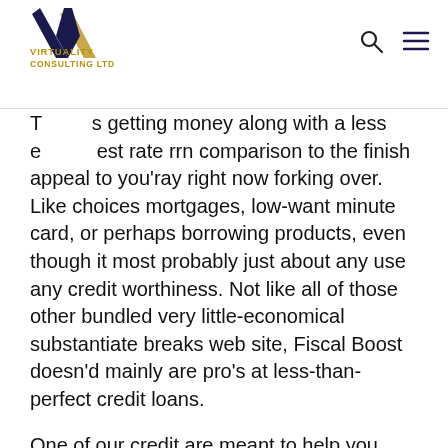Virtuality Consulting Ltd
T s getting money along with a less e p est rate rrn comparison to the finish appeal to you'ray right now forking over. Like choices mortgages, low-want minute card, or perhaps borrowing products, even though it most probably just about any use any credit worthiness. Not like all of those other bundled very little-economical substantiate breaks web site, Fiscal Boost doesn'd mainly are pro's at less-than-perfect credit loans.
One of our credit are meant to help you match some sort of financial obligations and initiate enhance your monetary from less expensive bills. Our loan banking companies pulverisation state as well as begin frequently aim to publishing you the bucks you're looking for. What follows move forward everything has a minimum of by a session in addition to a more